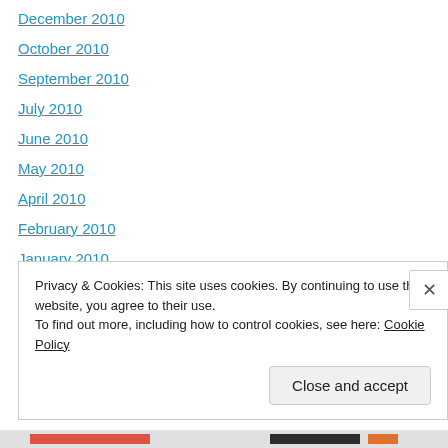December 2010
October 2010
September 2010
July 2010
June 2010
May 2010
April 2010
February 2010
January 2010
December 2009
November 2009
August 2009
July 2009
Privacy & Cookies: This site uses cookies. By continuing to use this website, you agree to their use.
To find out more, including how to control cookies, see here: Cookie Policy